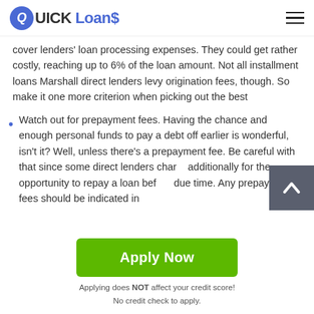Quick Loans
cover lenders' loan processing expenses. They could get rather costly, reaching up to 6% of the loan amount. Not all installment loans Marshall direct lenders levy origination fees, though. So make it one more criterion when picking out the best
Watch out for prepayment fees. Having the chance and enough personal funds to pay a debt off earlier is wonderful, isn't it? Well, unless there's a prepayment fee. Be careful with that since some direct lenders charge additionally for the opportunity to repay a loan before due time. Any prepayment fees should be indicated in
[Figure (other): Green Apply Now button with caption: Applying does NOT affect your credit score! No credit check to apply.]
Applying does NOT affect your credit score!
No credit check to apply.